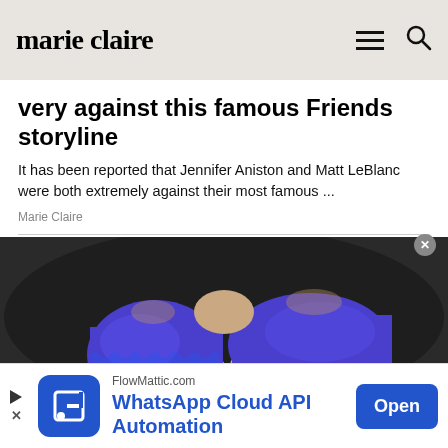marie claire
very against this famous Friends storyline
It has been reported that Jennifer Aniston and Matt LeBlanc were both extremely against their most famous ...
Marie Claire
[Figure (photo): Close-up photo of two toes wrapped in blue bandage/tape material against a dark background]
[Figure (logo): FlowMattic.com WhatsApp Cloud API Automation advertisement with blue logo icon and Open button]